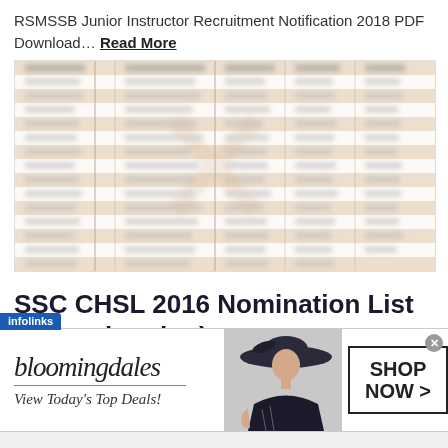RSMSSB Junior Instructor Recruitment Notification 2018 PDF Download… Read More
[Figure (table-as-image): Blurred/obscured table image showing RSMSSB recruitment data with rows and columns in beige and white striped pattern]
SSC CHSL 2016 Nomination List (Central region)
Admin   4 years ago
[Figure (other): Bloomingdale's advertisement banner: 'View Today's Top Deals!' with SHOP NOW > button and photo of woman in hat]